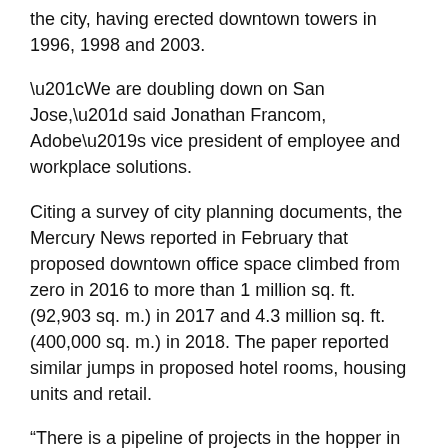the city, having erected downtown towers in 1996, 1998 and 2003.
“We are doubling down on San Jose,” said Jonathan Francom, Adobe’s vice president of employee and workplace solutions.
Citing a survey of city planning documents, the Mercury News reported in February that proposed downtown office space climbed from zero in 2016 to more than 1 million sq. ft. (92,903 sq. m.) in 2017 and 4.3 million sq. ft. (400,000 sq. m.) in 2018. The paper reported similar jumps in proposed hotel rooms, housing units and retail.
“There is a pipeline of projects in the hopper in downtown San Jose, and it’s a lot,” says Joshua Burroughs. “And it’s separate from Google. It’s millions of square feet of office proposed, tens of thousands of residential units, hundreds of thousands of square feet of retail.”
In January, Boston Properties, one of the country’s largest publicly traded developers, owners and managers of Class A office properties, announced a partnership with an affiliate of